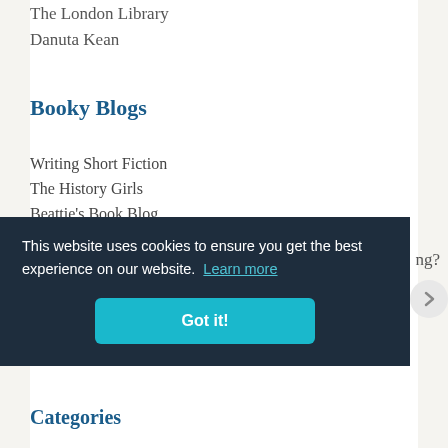The London Library
Danuta Kean
Booky Blogs
Writing Short Fiction
The History Girls
Beattie's Book Blog
Vulpes Libris
Tales from the Reading Room
Reading matters
Dove Grey Reader
This website uses cookies to ensure you get the best experience on our website. Learn more
Got it!